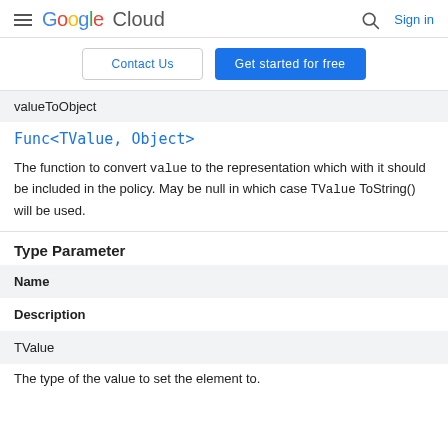Google Cloud — Sign in
Contact Us | Get started for free
valueToObject
Func<TValue, Object>
The function to convert value to the representation which with it should be included in the policy. May be null in which case TValue ToString() will be used.
Type Parameter
| Name | Description |
| --- | --- |
| TValue | The type of the value to set the element to. |